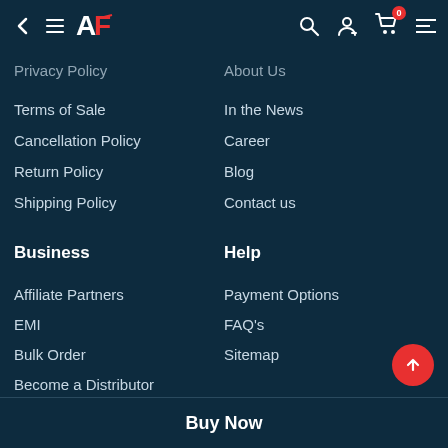AF Navigation Header
Privacy Policy
Terms of Sale
Cancellation Policy
Return Policy
Shipping Policy
About Us
In the News
Career
Blog
Contact us
Business
Help
Affiliate Partners
EMI
Bulk Order
Become a Distributor
Payment Options
FAQ's
Sitemap
Buy Now